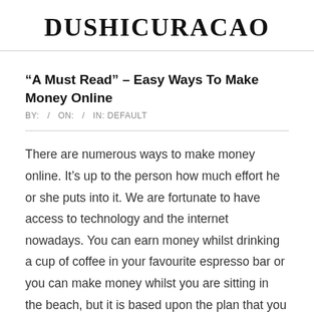DUSHICURACAO
“A Must Read” – Easy Ways To Make Money Online
BY:  /  ON:  /  IN: DEFAULT
There are numerous ways to make money online. It’s up to the person how much effort he or she puts into it. We are fortunate to have access to technology and the internet nowadays. You can earn money whilst drinking a cup of coffee in your favourite espresso bar or you can make money whilst you are sitting in the beach, but it is based upon the plan that you have planned as well as the